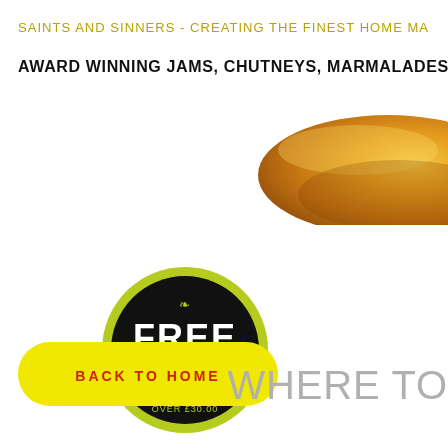SAINTS AND SINNERS - CREATING THE FINEST HOME MA
AWARD WINNING JAMS, CHUTNEYS, MARMALADES A
[Figure (photo): Partial view of a golden-brown baked pastry or pie crust visible in the upper right corner]
[Figure (illustration): Black circular badge with yellow-green border and decorative plant motif. Text reads FREE DELIVERY WHEN YOU SPEND OVER £30.00]
[Figure (other): Yellow rounded rectangle button with red text reading BACK TO HOME]
WHERE TO